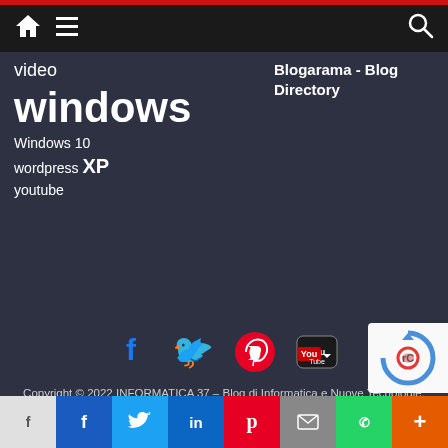Navigation bar with home, menu, and search icons
video
windows
Windows 10
wordpress  XP
youtube
Blogarama - Blog Directory
[Figure (infographic): Social media icons: Facebook (blue), Twitter (light blue), Pinterest (red), YouTube (red/black)]
Copyright © 2022 INFORMATICA 37 – Blog di Informatica e Nuove Tecnologie. Tutti i diritti riservati.
Tema: ColorMag di ThemeGrill. Powered by WordPress.
Share bar: Facebook, Twitter, LinkedIn, Pinterest, Mail, WhatsApp, More